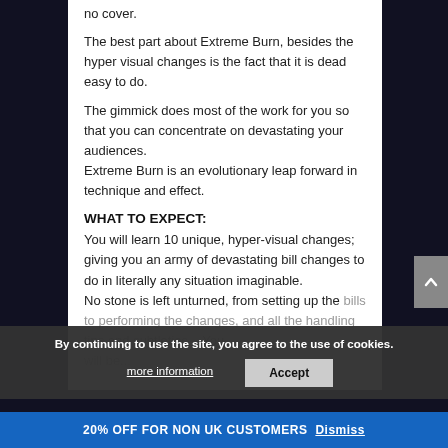no cover.
The best part about Extreme Burn, besides the hyper visual changes is the fact that it is dead easy to do.
The gimmick does most of the work for you so that you can concentrate on devastating your audiences.
Extreme Burn is an evolutionary leap forward in technique and effect.
WHAT TO EXPECT:
You will learn 10 unique, hyper-visual changes; giving you an army of devastating bill changes to do in literally any situation imaginable.
No stone is left unturned, from setting up the bills to performing the changes, and all the handling tips and subtleties... You will be...
By continuing to use the site, you agree to the use of cookies.
more information
Accept
20% OFF FOR NON UK CUSTOMERS Dismiss